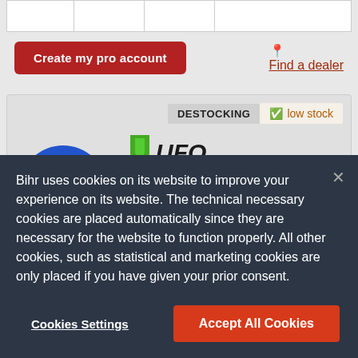[Figure (screenshot): Form input row with empty cells at top of page]
Create my pro account
Find a dealer
DESTOCKING
low stock
[Figure (photo): Blue/white/red motocross helmet product photo]
[Figure (logo): UFO brand logo - green arrow with UFO text]
UFO Diamond Helmet Blue/White/Red Size L
Bihr uses cookies on its website to improve your experience on its website. The technical necessary cookies are placed automatically since they are necessary for the website to function properly. All other cookies, such as statistical and marketing cookies are only placed if you have given your prior consent.
Cookies Settings
Accept All Cookies